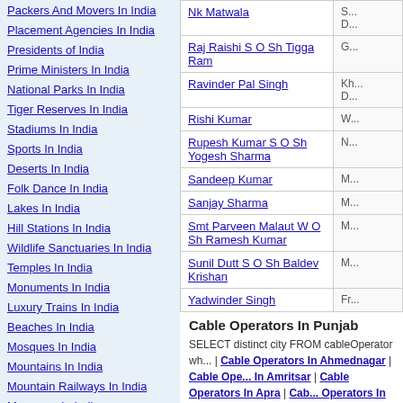Packers And Movers In India
Placement Agencies In India
Presidents of India
Prime Ministers In India
National Parks In India
Tiger Reserves In India
Stadiums In India
Sports In India
Deserts In India
Folk Dance In India
Lakes In India
Hill Stations In India
Wildlife Sanctuaries In India
Temples In India
Monuments In India
Luxury Trains In India
Beaches In India
Mosques In India
Mountains In India
Mountain Railways In India
Museums In India
| Name | Address |
| --- | --- |
| Nk Matwala | S...D... |
| Raj Raishi S O Sh Tigga Ram | G... |
| Ravinder Pal Singh | Kh...D... |
| Rishi Kumar | W... |
| Rupesh Kumar S O Sh Yogesh Sharma | N... |
| Sandeep Kumar | M... |
| Sanjay Sharma | M... |
| Smt Parveen Malaut W O Sh Ramesh Kumar | M... |
| Sunil Dutt S O Sh Baldev Krishan | M... |
| Yadwinder Singh | Fr... |
Cable Operators In Punjab
SELECT distinct city FROM cableOperator wh... | Cable Operators In Ahmednagar | Cable Operators In Amritsar | Cable Operators In Apra | Cable Operators In Balachaur | Cable Operators In Pathana | Cable Operators In Batala | Cable Operators In Bhadson | Cable Operators In Bhawanigarh | Cable Operators In Bholath | Cable Operators In Chaunda | Cable Operators...